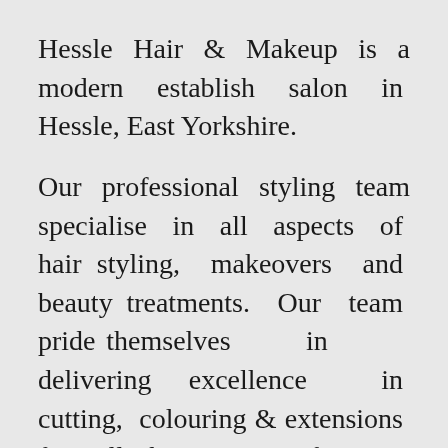Hessle Hair & Makeup is a modern establish salon in Hessle, East Yorkshire.
Our professional styling team specialise in all aspects of hair styling, makeovers and beauty treatments. Our team pride themselves in delivering excellence in cutting, colouring & extensions for all hair types, for men and women, coupled with a personalised service to make you feel welcomed and at ease.
We also have a professional bridal team, who deliver everything you